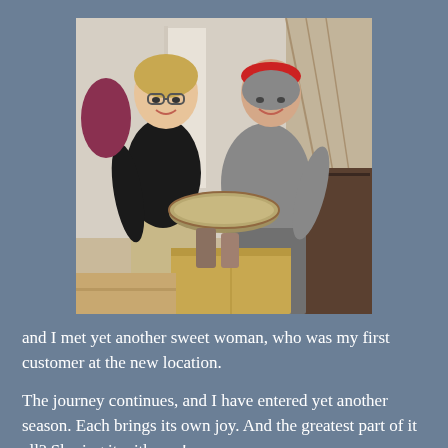[Figure (photo): Two smiling women posing together indoors. The woman on the left wears a black top and khaki pants, with glasses and short blonde hair. The woman on the right wears a gray t-shirt and a red bandana headband. They are holding a decorative metal tray/bowl together over a cardboard box. There is a staircase visible in the background.]
and I met yet another sweet woman, who was my first customer at the new location.
The journey continues, and I have entered yet another season.  Each brings its own joy.  And the greatest part of it all? Sharing it with you!